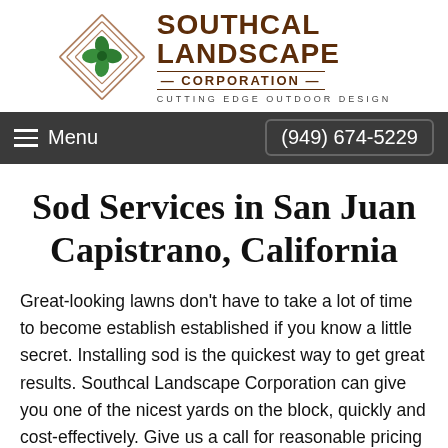[Figure (logo): Southcal Landscape Corporation logo with geometric diamond shape and green leaf icon, company name in dark brown, tagline CUTTING EDGE OUTDOOR DESIGN]
Menu  (949) 674-5229
Sod Services in San Juan Capistrano, California
Great-looking lawns don't have to take a lot of time to become establish established if you know a little secret. Installing sod is the quickest way to get great results. Southcal Landscape Corporation can give you one of the nicest yards on the block, quickly and cost-effectively. Give us a call for reasonable pricing and speedy service.